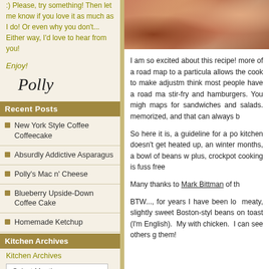:)  Please, try something! Then let me know if you love it as much as I do! Or even why you don't... Either way, I'd love to hear from you!
Enjoy!
[Figure (illustration): Cursive signature reading 'Polly']
Recent Posts
New York Style Coffee Coffeecake
Absurdly Addictive Asparagus
Polly's Mac n' Cheese
Blueberry Upside-Down Coffee Cake
Homemade Ketchup
Kitchen Archives
Kitchen Archives
[Figure (photo): Close-up food photo showing baked/cooked food item with reddish-brown texture]
I am so excited about this recipe! more of a road map to a particula allows the cook to make adjustm think most people have a road ma stir-fry and hamburgers.  You migh maps for sandwiches and salads. memorized, and that can always b
So here it is, a guideline for a po kitchen doesn't get heated up, an winter months, a bowl of beans w plus, crockpot cooking is fuss free
Many thanks to Mark Bittman of th
BTW..., for years I have been lo meaty, slightly sweet Boston-styl beans on toast (I'm English).  My with chicken.  I can see others g them!